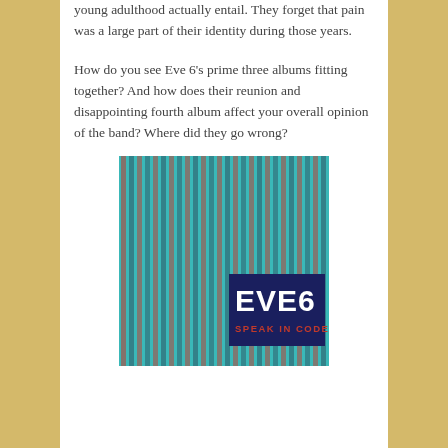young adulthood actually entail. They forget that pain was a large part of their identity during those years.
How do you see Eve 6's prime three albums fitting together? And how does their reunion and disappointing fourth album affect your overall opinion of the band? Where did they go wrong?
[Figure (illustration): Album cover for Eve 6 'Speak in Code' — teal/turquoise background with vertical stripes of dark red text listing song titles, and a dark navy box in the lower right with bold white text 'EVE 6' and red text 'SPEAK IN CODE' below.]